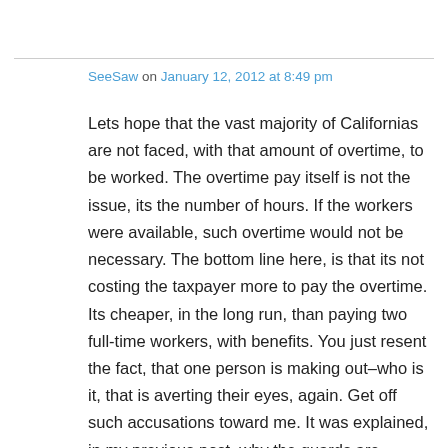SeeSaw on January 12, 2012 at 8:49 pm
Lets hope that the vast majority of Californias are not faced, with that amount of overtime, to be worked. The overtime pay itself is not the issue, its the number of hours. If the workers were available, such overtime would not be necessary. The bottom line here, is that its not costing the taxpayer more to pay the overtime. Its cheaper, in the long run, than paying two full-time workers, with benefits. You just resent the fact, that one person is making out–who is it, that is averting their eyes, again. Get off such accusations toward me. It was explained, in my previous post, why the guards are getting